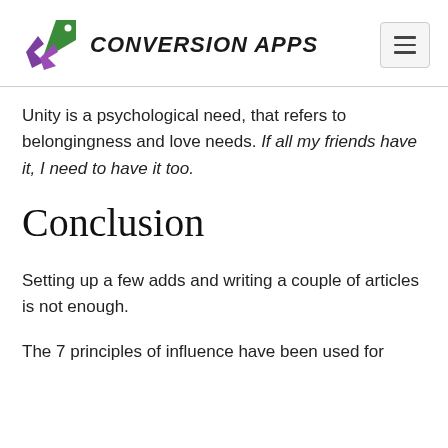CONVERSION APPS
Unity is a psychological need, that refers to belongingness and love needs. If all my friends have it, I need to have it too.
Conclusion
Setting up a few adds and writing a couple of articles is not enough.
The 7 principles of influence have been used for